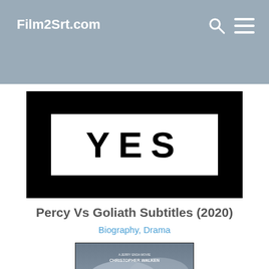Film2Srt.com
[Figure (screenshot): YES movie banner — black background with a white rectangle containing the text YES in large bold letters]
Percy Vs Goliath Subtitles (2020)
Biography, Drama
[Figure (photo): Movie poster for Percy Vs Goliath showing a figure with a hat against a dramatic cloudy sky, with text reading CHRISTOPHER WALKEN at the top]